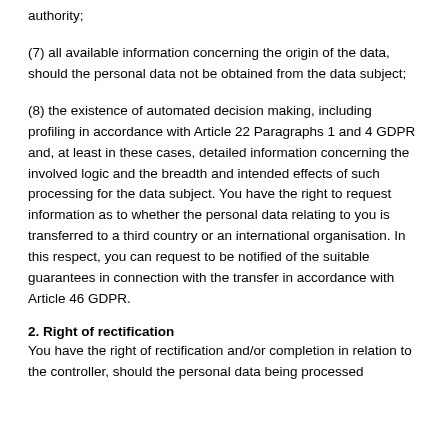authority;
(7) all available information concerning the origin of the data, should the personal data not be obtained from the data subject;
(8) the existence of automated decision making, including profiling in accordance with Article 22 Paragraphs 1 and 4 GDPR and, at least in these cases, detailed information concerning the involved logic and the breadth and intended effects of such processing for the data subject. You have the right to request information as to whether the personal data relating to you is transferred to a third country or an international organisation. In this respect, you can request to be notified of the suitable guarantees in connection with the transfer in accordance with Article 46 GDPR.
2. Right of rectification
You have the right of rectification and/or completion in relation to the controller, should the personal data being processed